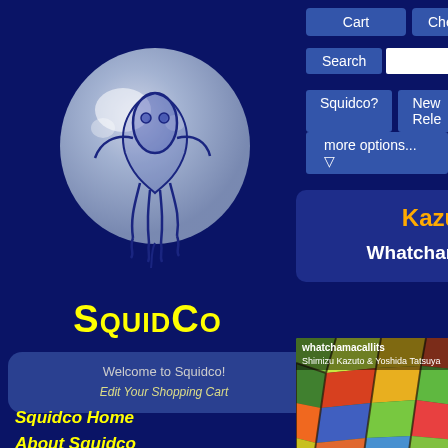[Figure (logo): Squidco logo: a translucent blue-grey sphere with a dark blue squid figure inside]
SquidCo
Welcome to Squidco!
Edit Your Shopping Cart
Squidco Home
About Squidco
My Account
Log Out
Checkout
Cart
Checkout
Search
Squidco?
New Rele
more options... ▽
Kazu
Whatchamaca
[Figure (photo): Album art for whatchamacallits by Shimizu Kazuto & Yoshida Tatsuya, featuring colorful abstract mosaic/stained-glass style artwork in greens, reds, blues, oranges]
whatchamacallits
Shimizu Kazuto & Yoshida Tatsuya